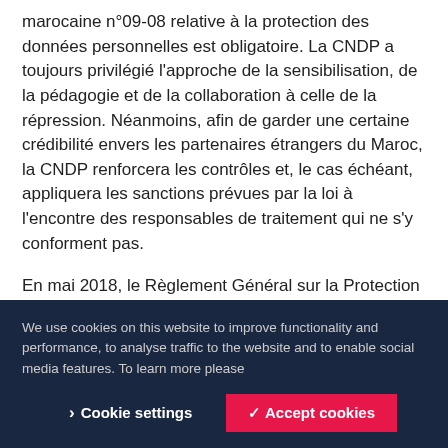Depuis le 1er novembre 2012, la conformité à la loi marocaine n°09-08 relative à la protection des données personnelles est obligatoire. La CNDP a toujours privilégié l'approche de la sensibilisation, de la pédagogie et de la collaboration à celle de la répression. Néanmoins, afin de garder une certaine crédibilité envers les partenaires étrangers du Maroc, la CNDP renforcera les contrôles et, le cas échéant, appliquera les sanctions prévues par la loi à l'encontre des responsables de traitement qui ne s'y conforment pas.
En mai 2018, le Règlement Général sur la Protection des Données personnelles (RGPD) entrera en vigueur. Certaines entités marocaines, notamment de par la provenance européenne des données qu'elles traitent, devront donc se conformer à ce règlement européen à...
We use cookies on this website to improve functionality and performance, to analyse traffic to the website and to enable social media features. To learn more please